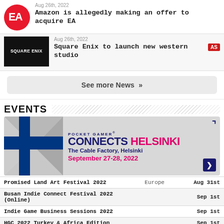[Figure (logo): EA logo - red circle with white EA text]
Aug 26th, 2022
Amazon is allegedly making an offer to acquire EA
[Figure (logo): Square Enix logo - black rectangle with white SQUARE ENIX text]
Aug 26th, 2022
Square Enix to launch new western studio
See more News »
EVENTS
[Figure (illustration): Pocket Gamer Connects Helsinki event banner with Finnish flag background. The Cable Factory, Helsinki. September 27-28, 2022]
| Event | Region | Date |
| --- | --- | --- |
| Promised Land Art Festival 2022 | Europe | Aug 31st |
| Busan Indie Connect Festival 2022 (Online) |  | Sep 1st |
| Indie Game Business Sessions 2022 |  | Sep 1st |
| HGC 2022 Turkey & Africa Edition |  | Sep 1st |
| PAX West 2022 | North America | Sep 2nd |
| PDXCON 2022 | Nordic | Sep 2nd |